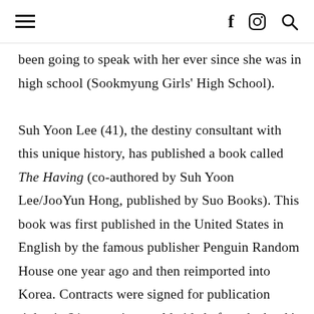[hamburger menu] [facebook icon] [instagram icon] [search icon]
been going to speak with her ever since she was in high school (Sookmyung Girls' High School).

Suh Yoon Lee (41), the destiny consultant with this unique history, has published a book called The Having (co-authored by Suh Yoon Lee/JooYun Hong, published by Suo Books). This book was first published in the United States in English by the famous publisher Penguin Random House one year ago and then reimported into Korea. Contracts were signed for publication rights in 21 countries worldwide before the book's Korean release. This is an unprecedented case in which Korean authors published a book overseas first...